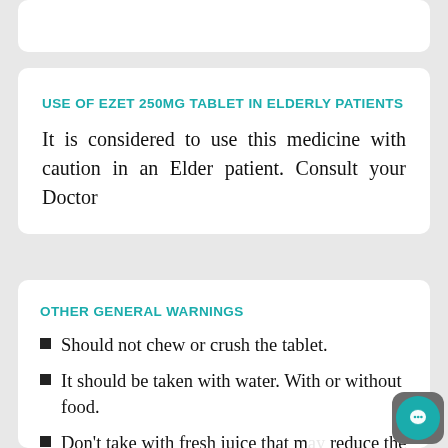USE OF EZET 250MG TABLET IN ELDERLY PATIENTS
It is considered to use this medicine with caution in an Elder patient. Consult your Doctor
OTHER GENERAL WARNINGS
Should not chew or crush the tablet.
It should be taken with water. With or without food.
Don't take with fresh juice that may reduce the drug absorption.